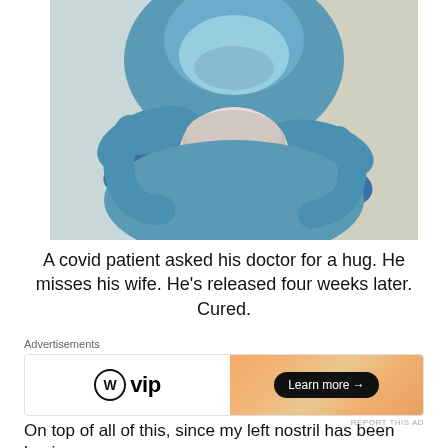[Figure (photo): A healthcare worker in full PPE (blue gown, face shield, mask, and gloves) embracing an elderly COVID-19 patient who has white/gray hair. The patient appears to be resting their head against the medical worker. The scene is emotionally poignant.]
A covid patient asked his doctor for a hug. He misses his wife. He’s released four weeks later. Cured.
Advertisements
[Figure (illustration): WordPress VIP advertisement. Left side shows WordPress logo (circle with W) and 'vip' text in bold. Right side has an orange/peach gradient background with a 'Learn more →' button in a dark pill shape.]
REPORT THIS AD
On top of all of this, since my left nostril has been having